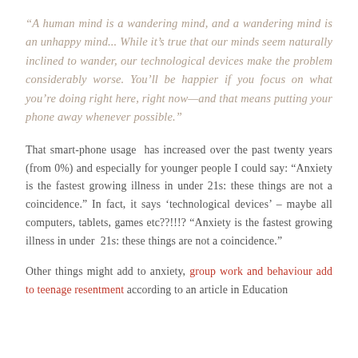“A human mind is a wandering mind, and a wandering mind is an unhappy mind... While it’s true that our minds seem naturally inclined to wander, our technological devices make the problem considerably worse. You’ll be happier if you focus on what you’re doing right here, right now—and that means putting your phone away whenever possible.”
That smart-phone usage has increased over the past twenty years (from 0%) and especially for younger people I could say: “Anxiety is the fastest growing illness in under 21s: these things are not a coincidence.” In fact, it says ‘technological devices’ – maybe all computers, tablets, games etc??!!!? “Anxiety is the fastest growing illness in under 21s: these things are not a coincidence.”
Other things might add to anxiety, group work and behaviour add to teenage resentment according to an article in Education